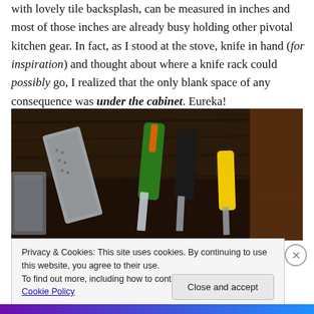with lovely tile backsplash, can be measured in inches and most of those inches are already busy holding other pivotal kitchen gear. In fact, as I stood at the stove, knife in hand (for inspiration) and thought about where a knife rack could possibly go, I realized that the only blank space of any consequence was under the cabinet. Eureka!
[Figure (photo): Photo of knives stored under a wooden cabinet, showing knife handles including a colorful green/orange handle and a yellow-handled knife, with metal blades visible.]
Privacy & Cookies: This site uses cookies. By continuing to use this website, you agree to their use.
To find out more, including how to control cookies, see here: Cookie Policy